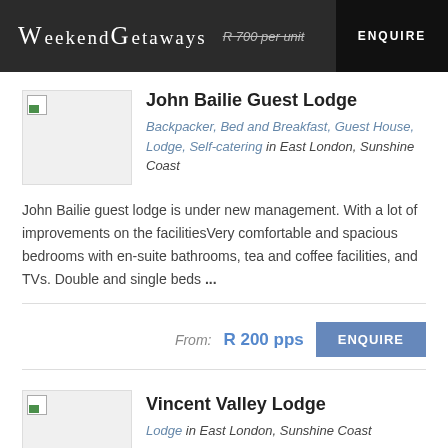WeekendGetaways  R 700 per unit  ENQUIRE
John Bailie Guest Lodge
Backpacker, Bed and Breakfast, Guest House, Lodge, Self-catering in East London, Sunshine Coast
John Bailie guest lodge is under new management. With a lot of improvements on the facilitiesVery comfortable and spacious bedrooms with en-suite bathrooms, tea and coffee facilities, and TVs. Double and single beds ...
From:  R 200 pps  ENQUIRE
Vincent Valley Lodge
Lodge in East London, Sunshine Coast